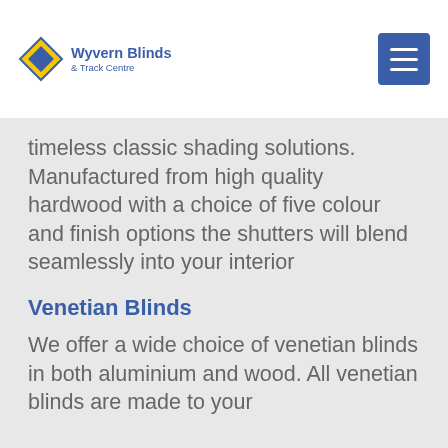[Figure (logo): Wyvern Blinds & Track Centre logo with diamond/rhombus shape in yellow and blue, company name in blue text]
[Figure (other): Blue hamburger menu button with three white horizontal lines]
timeless classic shading solutions. Manufactured from high quality hardwood with a choice of five colour and finish options the shutters will blend seamlessly into your interior
Venetian Blinds
We offer a wide choice of venetian blinds in both aluminium and wood. All venetian blinds are made to your